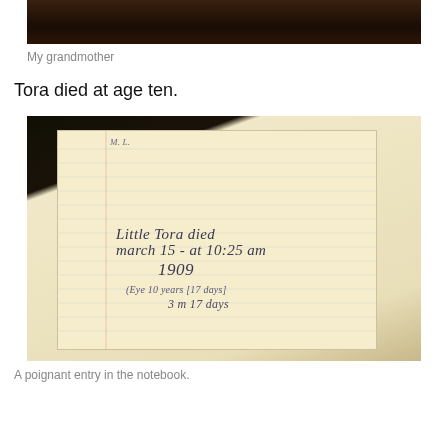[Figure (photo): Partial photo of grandmother, dark background, cropped at top of page]
My grandmother
Tora died at age ten.
[Figure (photo): Photo of an old handwritten notebook entry reading: 'Little Tora died march 15 - at 10:25 am 1909' with additional faded handwriting below showing age details '3 m 17 days']
A poignant entry in the notebook.